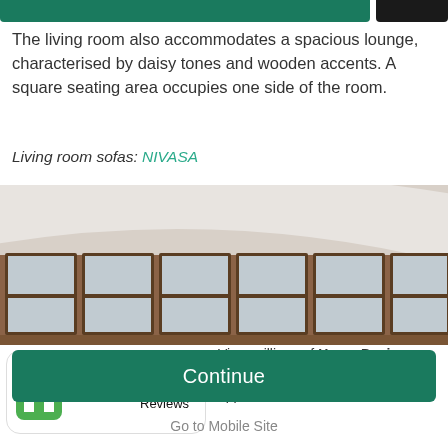[Figure (screenshot): Green navigation bar at top and dark icon button]
The living room also accommodates a spacious lounge, characterised by daisy tones and wooden accents. A square seating area occupies one side of the room.
Living room sofas: NIVASA
[Figure (photo): Interior room photo showing curved wooden window frames with multiple panes and a white ceiling arc]
Houzz Interior Design Ideas ★★★★★ 300 K Reviews
View millions of Home Design Photos in the free Houzz iPhone app
Continue
Go to Mobile Site